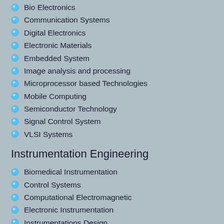Bio Electronics
Communication Systems
Digital Electronics
Electronic Materials
Embedded System
Image analysis and processing
Microprocessor based Technologies
Mobile Computing
Semiconductor Technology
Signal Control System
VLSI Systems
Instrumentation Engineering
Biomedical Instrumentation
Control Systems
Computational Electromagnetic
Electronic Instrumentation
Instrumentations Design
Measurement Theory
PLCS/SCADA/DCS/Automation
Remote Engineering